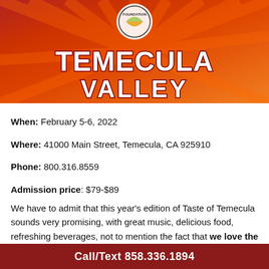[Figure (illustration): Temecula Valley event banner with orange/red sunburst background, circular logo with 'FOUNDATION' text, and large white bold text reading 'TEMECULA VALLEY']
When: February 5-6, 2022
Where: 41000 Main Street, Temecula, CA 925910
Phone: 800.316.8559
Admission price: $79-$89
We have to admit that this year's edition of Taste of Temecula sounds very promising, with great music, delicious food, refreshing beverages, not to mention the fact that we love the location of the event, a
Call/Text 858.336.1894